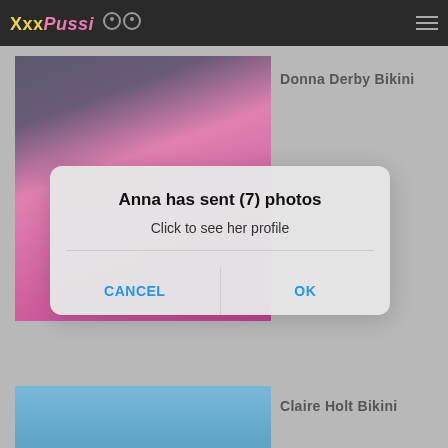XxxPussi  ☰
Donna Derby Bikini
[Figure (photo): Beach scene with person in pink bikini and towel]
Anna has sent (7) photos
Click to see her profile
CANCEL    OK
Claire Holt Bikini
[Figure (photo): Blonde woman at the beach with blue water background]